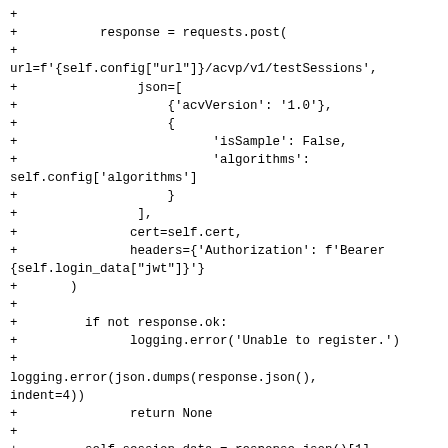+
+           response = requests.post(
+
url=f'{self.config["url"]}/acvp/v1/testSessions',
+                json=[
+                    {'acvVersion': '1.0'},
+                    {
+                          'isSample': False,
+                          'algorithms':
self.config['algorithms']
+                    }
+                ],
+               cert=self.cert,
+               headers={'Authorization': f'Bearer
{self.login_data["jwt"]}'
+       )
+
+         if not response.ok:
+               logging.error('Unable to register.')
+
logging.error(json.dumps(response.json(),
indent=4))
+               return None
+
+         self.session_data = response.json()[1]
+         # Renamed 'accessToken' to 'jwt' in the
json object
+         # to stay consistent with libacvp
+         self.session_data['jwt'] =
self.session_data.pop('accessToken')